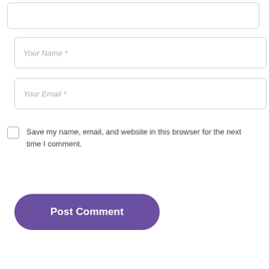[Figure (screenshot): Partial text input field (top, cropped) with rounded border]
Your Name *
Your Email *
Save my name, email, and website in this browser for the next time I comment.
Post Comment